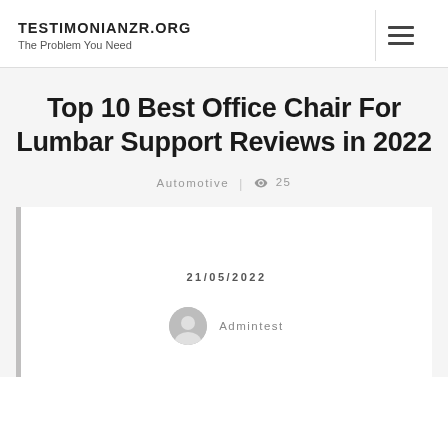TESTIMONIANZR.ORG — The Problem You Need
Top 10 Best Office Chair For Lumbar Support Reviews in 2022
Automotive | 👁 25
21/05/2022
Admintest